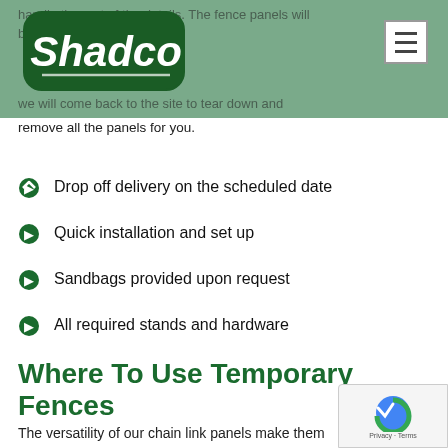Shadco [logo] [hamburger menu]
handle the rest of the details. The fence panels will be...
we will come back to the site to tear down and remove all the panels for you.
Drop off delivery on the scheduled date
Quick installation and set up
Sandbags provided upon request
All required stands and hardware
Where To Use Temporary Fences
The versatility of our chain link panels make them